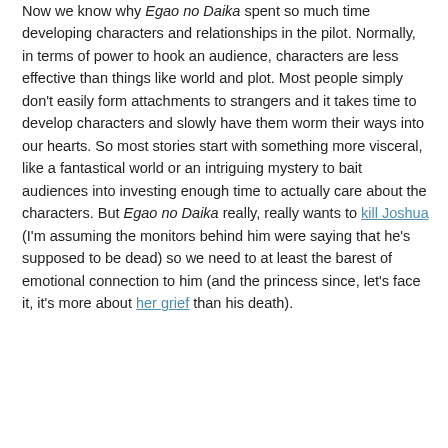Now we know why Egao no Daika spent so much time developing characters and relationships in the pilot. Normally, in terms of power to hook an audience, characters are less effective than things like world and plot. Most people simply don't easily form attachments to strangers and it takes time to develop characters and slowly have them worm their ways into our hearts. So most stories start with something more visceral, like a fantastical world or an intriguing mystery to bait audiences into investing enough time to actually care about the characters. But Egao no Daika really, really wants to kill Joshua (I'm assuming the monitors behind him were saying that he's supposed to be dead) so we need to at least the barest of emotional connection to him (and the princess since, let's face it, it's more about her grief than his death).